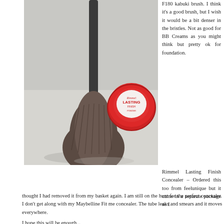[Figure (photo): A makeup kabuki brush with dark bristles leaning against a Rimmel Lasting Finish powder compact with a red lid, on a light grey surface.]
F180 kabuki brush. I think it's a good brush, but I wish it would be a bit denser in the bristles. Not as good for BB Creams as you might think but pretty ok for foundation.
Rimmel Lasting Finish Concealer – Ordered this too from feelunique but it came in a separate package so I thought I had removed it from my basket again. I am still on the hunt for the perfect concealer. I don't get along with my Maybelline Fit me concealer. The tube leaks and smears and it moves everywhere.
I hope this will be enough...